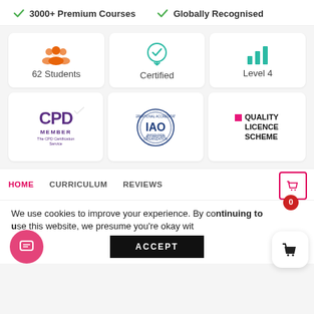✓ 3000+ Premium Courses  ✓ Globally Recognised
[Figure (infographic): Three cards: students icon (62 Students), certified badge icon (Certified), bar chart icon (Level 4)]
[Figure (infographic): Three logo cards: CPD Member - The CPD Certification Service, IAO International Accreditation Organization, Quality Licence Scheme]
HOME   CURRICULUM   REVIEWS
We use cookies to improve your experience. By continuing to use this website, we presume you're okay with
ACCEPT